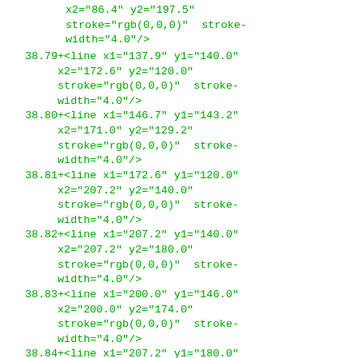x2="86.4" y2="197.5" stroke="rgb(0,0,0)"  stroke-width="4.0"/>
38.79  +<line x1="137.9" y1="140.0" x2="172.6" y2="120.0" stroke="rgb(0,0,0)"  stroke-width="4.0"/>
38.80  +<line x1="146.7" y1="143.2" x2="171.0" y2="129.2" stroke="rgb(0,0,0)"  stroke-width="4.0"/>
38.81  +<line x1="172.6" y1="120.0" x2="207.2" y2="140.0" stroke="rgb(0,0,0)"  stroke-width="4.0"/>
38.82  +<line x1="207.2" y1="140.0" x2="207.2" y2="180.0" stroke="rgb(0,0,0)"  stroke-width="4.0"/>
38.83  +<line x1="200.0" y1="146.0" x2="200.0" y2="174.0" stroke="rgb(0,0,0)"  stroke-width="4.0"/>
38.84  +<line x1="207.2" y1="180.0" x2="172.6" y2="200.0" stroke="rgb(0,0,0)"  stroke-width="4.0"/>
38.85  +<line x1="172.6" y1="200.0" x2="137.9" y2="180.0" stroke="rgb(0,0,0)"  stroke-width="4.0"/>